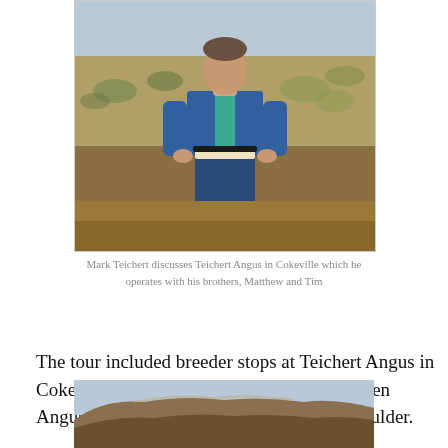[Figure (photo): Man in blue denim jacket and turquoise shirt standing in a field with dry grass and sagebrush, holding papers.]
Mark Teichert discusses Teichert Angus in Cokeville which he operates with his brothers, Matthew and Tim
The tour included breeder stops at Teichert Angus in Cokeville, Hepworth Angus in Auburn, Jensen Angus in Boulder and Lucky 7 Angus in Boulder.
[Figure (photo): Landscape photo showing rolling hills or a mountain ridge under an overcast sky.]